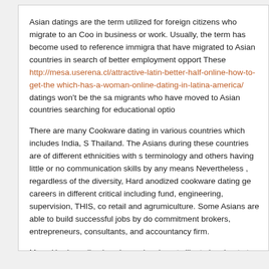Asian datings are the term utilized for foreign citizens who migrate to an Coo in business or work. Usually, the term has become used to reference immigra that have migrated to Asian countries in search of better employment opport These http://mesa.userena.cl/attractive-latin-better-half-online-how-to-get-the which-has-a-woman-online-dating-in-latina-america/ datings won't be the sa migrants who have moved to Asian countries searching for educational optio
There are many Cookware dating in various countries which includes India, S Thailand. The Asians during these countries are of different ethnicities with s terminology and others having little or no communication skills by any means Nevertheless , regardless of the diversity, Hard anodized cookware dating ge careers in different critical including fund, engineering, supervision, THIS, co retail and agrumiculture. Some Asians are able to build successful jobs by do commitment brokers, entrepreneurs, consultants, and accountancy firm.
Many Hard anodized cookware immigrants like to immigrate to Questionnaire benefits, and Australia has become a popular place to go for Asian immigrati In fact , many of the Asian Diaspora in Australia are likewise part of the huge Australia, and the large Chinese community in Australia is growing in proport this, many Aussie companies choose to outsource the assignments to Asian Parts of asia have cheaper labour costs.